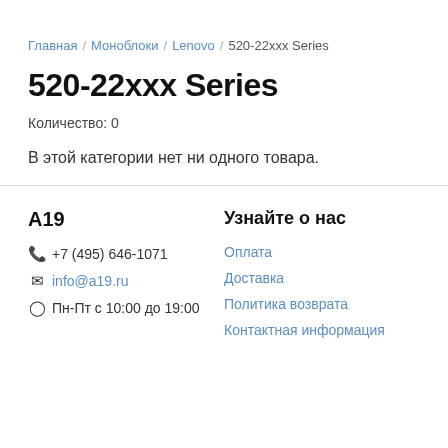Главная / Моноблоки / Lenovo / 520-22xxx Series
520-22xxx Series
Количество: 0
В этой категории нет ни одного товара.
А19
+7 (495) 646-1071
info@a19.ru
Пн-Пт с 10:00 до 19:00
Узнайте о нас
Оплата
Доставка
Политика возврата
Контактная информация